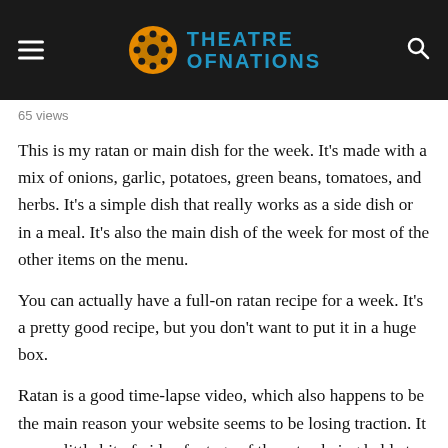Theatre of Nations
65 views
This is my ratan or main dish for the week. It's made with a mix of onions, garlic, potatoes, green beans, tomatoes, and herbs. It's a simple dish that really works as a side dish or in a meal. It's also the main dish of the week for most of the other items on the menu.
You can actually have a full-on ratan recipe for a week. It's a pretty good recipe, but you don't want to put it in a huge box.
Ratan is a good time-lapse video, which also happens to be the main reason your website seems to be losing traction. It uses a little bit of video footage of the ratan being held at the end of a party on the island (though the camera still works). It's a good